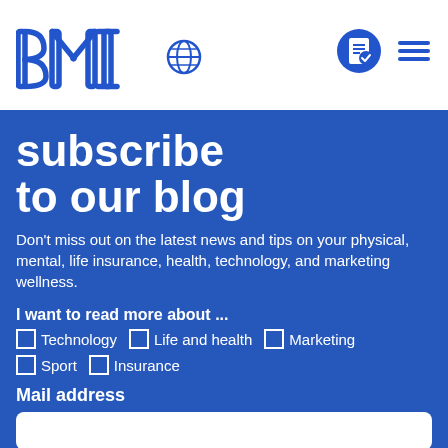[Figure (logo): BMI logo in blue with globe icon and navigation icons (document, hamburger menu)]
subscribe to our blog
Don't miss out on the latest news and tips on your physical, mental, life insurance, health, technology, and marketing wellness.
I want to read more about ...
Technology
Life and health
Marketing
Sport
Insurance
Mail address